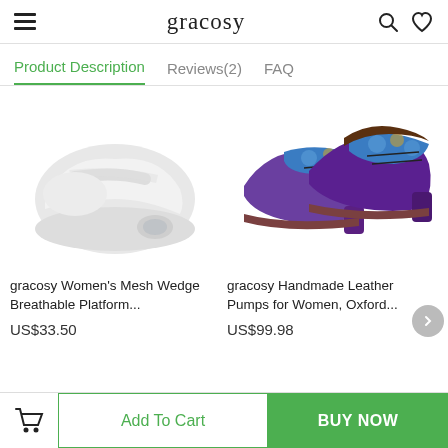gracosy
Product Description   Reviews(2)   FAQ
[Figure (photo): White mesh wedge breathable platform shoe on white background]
[Figure (photo): Purple and blue handmade leather Oxford pump heel shoes on white background]
gracosy Women's Mesh Wedge Breathable Platform...
US$33.50
gracosy Handmade Leather Pumps for Women, Oxford...
US$99.98
Add To Cart
BUY NOW